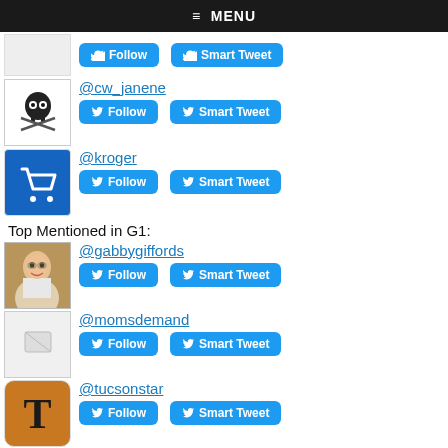≡ MENU
@cw_janene — Follow, Smart Tweet
@kroger — Follow, Smart Tweet
Top Mentioned in G1:
@gabbygiffords — Follow, Smart Tweet
@momsdemand — Follow, Smart Tweet
@tucsonstar — Follow, Smart Tweet
@kvoa — Follow, Smart Tweet
@captmarkkelly — Follow, Smart Tweet